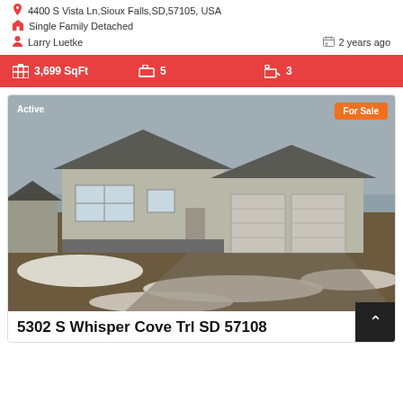4400 S Vista Ln, Sioux Falls, SD, 57105, USA
Single Family Detached
Larry Luetke   2 years ago
3,699 SqFt   5   3
[Figure (photo): Exterior photo of a single-story ranch-style home in Sioux Falls SD, light gray siding, large garage, winter scene with snow patches on ground, overcast sky. Badges: 'Active' top-left, 'For Sale' top-right in orange.]
5302 S Whisper Cove Trl SD 57108